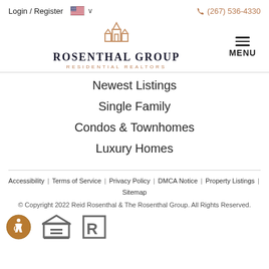Login / Register  (267) 536-4330
[Figure (logo): Rosenthal Group Residential Realtors logo with building icon]
Newest Listings
Single Family
Condos & Townhomes
Luxury Homes
Accessibility | Terms of Service | Privacy Policy | DMCA Notice | Property Listings | Sitemap
© Copyright 2022 Reid Rosenthal & The Rosenthal Group. All Rights Reserved.